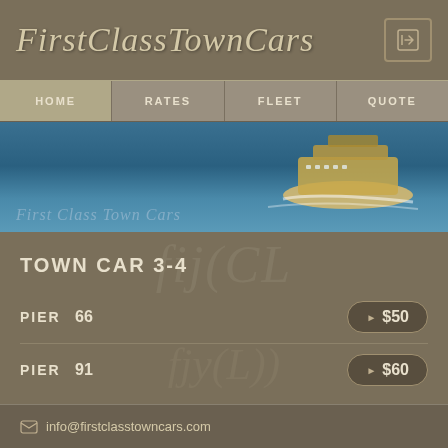FirstClassTownCars
HOME  RATES  FLEET  QUOTE
[Figure (photo): Aerial view of a large cruise ship on blue water with First Class Town Cars watermark text overlay]
TOWN CAR 3-4
| Location | Price |
| --- | --- |
| PIER 66 | $50 |
| PIER 91 | $60 |
info@firstclasstowncars.com